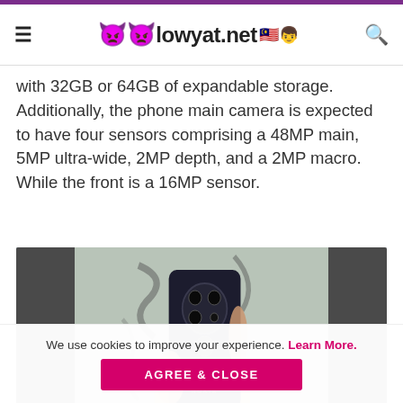lowyat.net
with 32GB or 64GB of expandable storage. Additionally, the phone main camera is expected to have four sensors comprising a 48MP main, 5MP ultra-wide, 2MP depth, and a 2MP macro. While the front is a 16MP sensor.
[Figure (photo): Person holding a Nokia smartphone showing the back with quad-camera module and fingerprint sensor]
We use cookies to improve your experience. Learn More. AGREE & CLOSE